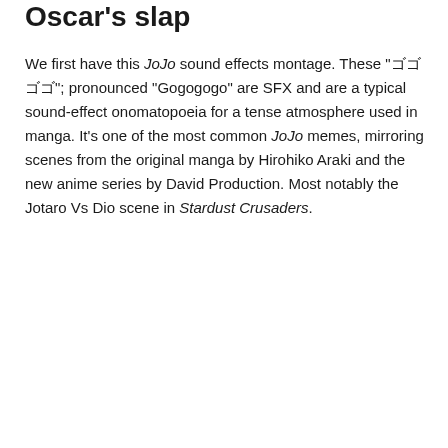Oscar's slap
We first have this JoJo sound effects montage. These "ゴゴゴゴ"; pronounced "Gogogogo" are SFX and are a typical sound-effect onomatopoeia for a tense atmosphere used in manga. It's one of the most common JoJo memes, mirroring scenes from the original manga by Hirohiko Araki and the new anime series by David Production. Most notably the Jotaro Vs Dio scene in Stardust Crusaders.